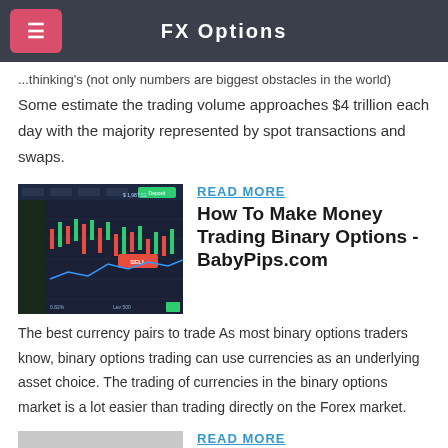FX Options
...thinking's (not only numbers are biggest obstacles in the world)
Some estimate the trading volume approaches $4 trillion each day with the majority represented by spot transactions and swaps.
[Figure (screenshot): Trading chart screenshot showing candlestick/line chart with red and green indicators on dark background]
READ MORE
How To Make Money Trading Binary Options - BabyPips.com
The best currency pairs to trade As most binary options traders know, binary options trading can use currencies as an underlying asset choice. The trading of currencies in the binary options market is a lot easier than trading directly on the Forex market.
[Figure (screenshot): Gray placeholder image with three dots icon]
READ MORE
Binary Options vs Forex | Forex Crunch